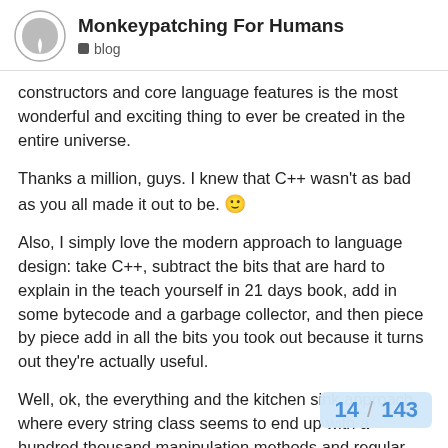Monkeypatching For Humans | blog
constructors and core language features is the most wonderful and exciting thing to ever be created in the entire universe.
Thanks a million, guys. I knew that C++ wasn't as bad as you all made it out to be. 🙂
Also, I simply love the modern approach to language design: take C++, subtract the bits that are hard to explain in the teach yourself in 21 days book, add in some bytecode and a garbage collector, and then piece by piece add in all the bits you took out because it turns out they're actually useful.
Well, ok, the everything and the kitchen sink approach where every string class seems to end up with a hundred thousand manipulation methods and regular expression processors and XML parsers and every type of string oepration shoved into the interface is funny, too.
C# and Java have the everything is an obj better development would be to make free
14 / 143